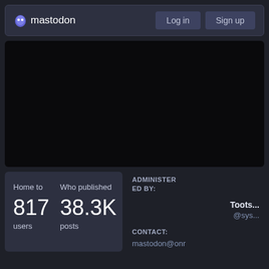mastodon  Log in  Sign up
[Figure (photo): Dark/black hero image area, appears to be a mostly black screenshot or dark background image]
Home to
817
users
Who published
38.3K
posts
ADMINISTERED BY:
Toots...
@sys...
CONTACT:
mastodon@onr